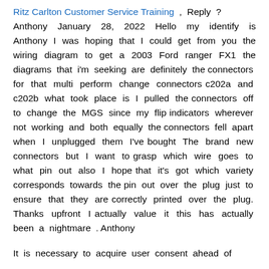Ritz Carlton Customer Service Training , Reply ? Anthony January 28, 2022 Hello my identify is Anthony I was hoping that I could get from you the wiring diagram to get a 2003 Ford ranger FX1 the diagrams that i'm seeking are definitely the connectors for that multi perform change connectors c202a and c202b what took place is I pulled the connectors off to change the MGS since my flip indicators wherever not working and both equally the connectors fell apart when I unplugged them I've bought The brand new connectors but I want to grasp which wire goes to what pin out also I hope that it's got which variety corresponds towards the pin out over the plug just to ensure that they are correctly printed over the plug. Thanks upfront I actually value it this has actually been a nightmare . Anthony
It is necessary to acquire user consent ahead of